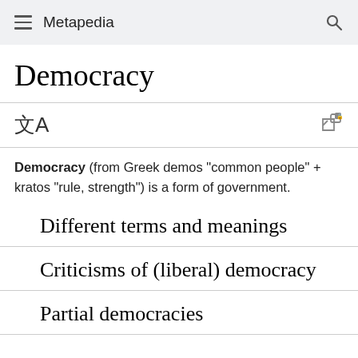Metapedia
Democracy
Democracy (from Greek demos "common people" + kratos "rule, strength") is a form of government.
Different terms and meanings
Criticisms of (liberal) democracy
Partial democracies